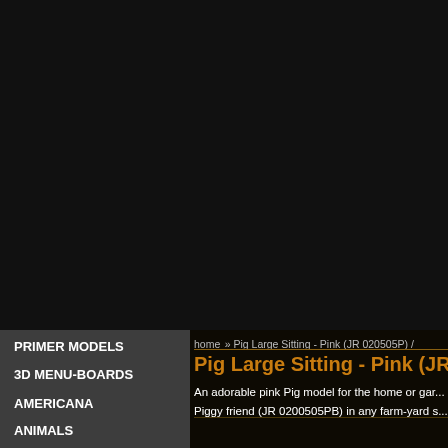home » Pig Large Sitting - Pink (JR 020505P) /
Pig Large Sitting - Pink (JR 0...
An adorable pink Pig model for the home or gar... Piggy friend (JR 0200505PB) in any farm-yard s...
PRIMER MODELS
3D MENU-BOARDS
AMERICANA
ANIMALS
CHRISTMAS & WINTER WONDERLAND
EASTER THEME
EGYPTIAN THEME
FARM & GARDEN THEME
Approx max dimensions:-  114 cms x 4...
Approx weight:-  12 kgs
This Pig is gorgeous; a real must for all Pig fans... farmyard themed area or in shops, businesses, ... zoos, theme-parks or would even in your own ho...